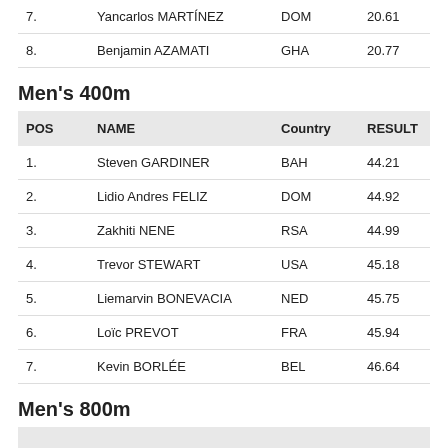| POS | NAME | Country | RESULT |
| --- | --- | --- | --- |
| 7. | Yancarlos MARTÍNEZ | DOM | 20.61 |
| 8. | Benjamin AZAMATI | GHA | 20.77 |
Men's 400m
| POS | NAME | Country | RESULT |
| --- | --- | --- | --- |
| 1. | Steven GARDINER | BAH | 44.21 |
| 2. | Lidio Andres FELIZ | DOM | 44.92 |
| 3. | Zakhiti NENE | RSA | 44.99 |
| 4. | Trevor STEWART | USA | 45.18 |
| 5. | Liemarvin BONEVACIA | NED | 45.75 |
| 6. | Loïc PREVOT | FRA | 45.94 |
| 7. | Kevin BORLÉE | BEL | 46.64 |
Men's 800m